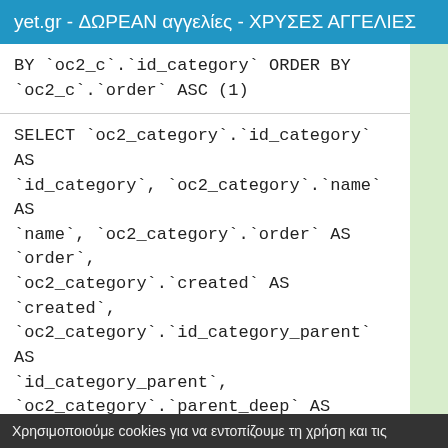yet.gr - ΔΩΡΕΑΝ αγγελίες - ΧΡΥΣΕΣ ΑΓΓΕΛΙΕΣ
BY `oc2_c`.`id_category` ORDER BY `oc2_c`.`order` ASC (1)
SELECT `oc2_category`.`id_category` AS `id_category`, `oc2_category`.`name` AS `name`, `oc2_category`.`order` AS `order`, `oc2_category`.`created` AS `created`, `oc2_category`.`id_category_parent` AS `id_category_parent`, `oc2_category`.`parent_deep` AS `parent_deep`, `oc2_category`.`seoname` AS `seoname`, `oc2_category`.`description` AS `description`, `oc2_category`.`price` AS `price`, `oc2_category`.`last_modified` AS `last_modified`, `oc2_category`.`has_image` AS `has_image` FROM `oc2_categories` AS
Χρησιμοποιούμε cookies για να εντοπίζουμε τη χρήση και τις